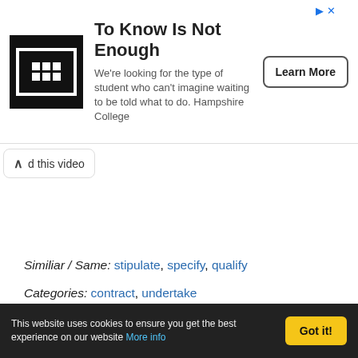[Figure (infographic): Advertisement banner for Hampshire College with logo, headline 'To Know Is Not Enough', tagline text, and 'Learn More' button]
d this video
Similiar / Same: stipulate, specify, qualify
Categories: contract, undertake
Within this category: provide
Share »
[Figure (infographic): Row of social sharing icons: Facebook (blue), Twitter (light blue), Pinterest (red), Email (green)]
This website uses cookies to ensure you get the best experience on our website More info